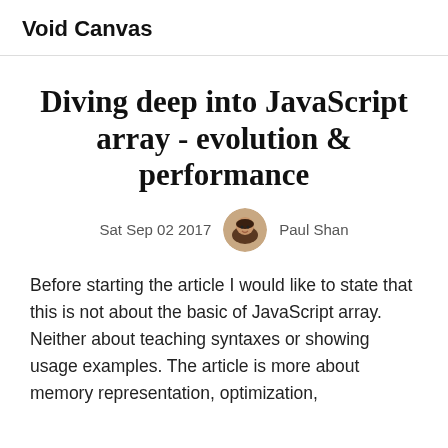Void Canvas
Diving deep into JavaScript array - evolution & performance
Sat Sep 02 2017   Paul Shan
Before starting the article I would like to state that this is not about the basic of JavaScript array. Neither about teaching syntaxes or showing usage examples. The article is more about memory representation, optimization,